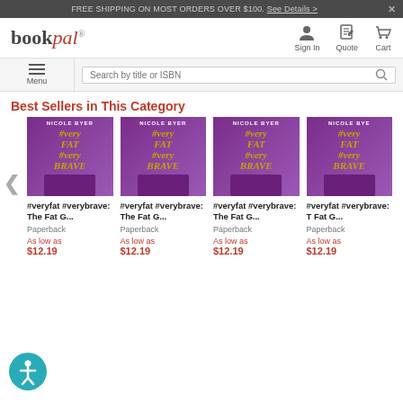FREE SHIPPING ON MOST ORDERS OVER $100. See Details >
[Figure (logo): BookPal logo in black and red italic script]
[Figure (screenshot): Navigation icons: Sign In, Quote, Cart]
[Figure (screenshot): Menu button with hamburger icon and search bar]
Best Sellers in This Category
[Figure (photo): Book cover: #veryfat #verybrave by Nicole Byer, purple background]
#veryfat #verybrave: The Fat G...
Paperback
As low as $12.19
[Figure (photo): Book cover: #veryfat #verybrave by Nicole Byer, purple background]
#veryfat #verybrave: The Fat G...
Paperback
As low as $12.19
[Figure (photo): Book cover: #veryfat #verybrave by Nicole Byer, purple background]
#veryfat #verybrave: The Fat G...
Paperback
As low as $12.19
[Figure (photo): Book cover: #veryfat #verybrave by Nicole Byer, purple background]
#veryfat #verybrave: The Fat G...
Paperback
As low as $12.19